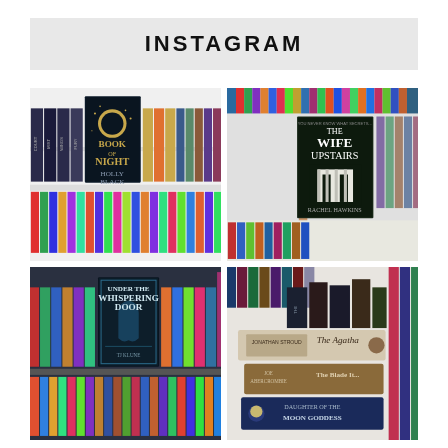INSTAGRAM
[Figure (photo): Bookshelf photo showing 'Book of Night' by Holly Black prominently displayed, surrounded by other books including Court of Mist and Fury series spines, with colorful books in background.]
[Figure (photo): Hand holding up 'The Wife Upstairs' by Rachel Hawkins in front of a colorful bookshelf packed with various books.]
[Figure (photo): Bookshelf with 'Under the Whispering Door' prominently shown among other colorful books.]
[Figure (photo): Stack of books including 'The Agatha', Joe Abercrombie 'The Blade Itself', and 'Daughter of the Moon Goddess' among others.]